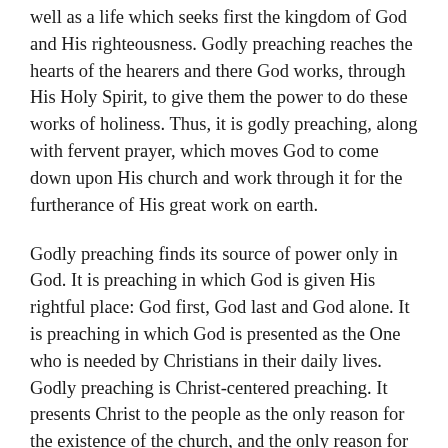well as a life which seeks first the kingdom of God and His righteousness. Godly preaching reaches the hearts of the hearers and there God works, through His Holy Spirit, to give them the power to do these works of holiness. Thus, it is godly preaching, along with fervent prayer, which moves God to come down upon His church and work through it for the furtherance of His great work on earth.
Godly preaching finds its source of power only in God. It is preaching in which God is given His rightful place: God first, God last and God alone. It is preaching in which God is presented as the One who is needed by Christians in their daily lives. Godly preaching is Christ-centered preaching. It presents Christ to the people as the only reason for the existence of the church, and the only reason for any and all works in which the church engages. Godly preaching keeps